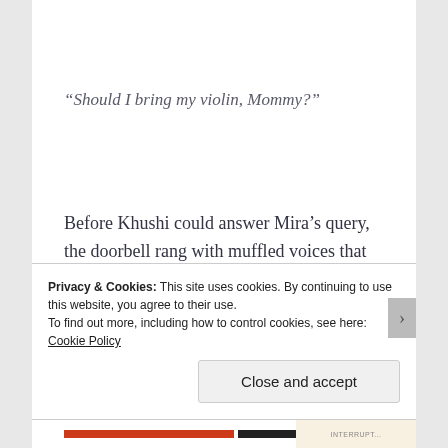“Should I bring my violin, Mommy?”
Before Khushi could answer Mira’s query, the doorbell rang with muffled voices that couldn’t contain their excitement. Twins and Lavanya, thought Khushi, her face creasing a small smile.
Privacy & Cookies: This site uses cookies. By continuing to use this website, you agree to their use.
To find out more, including how to control cookies, see here: Cookie Policy
Close and accept